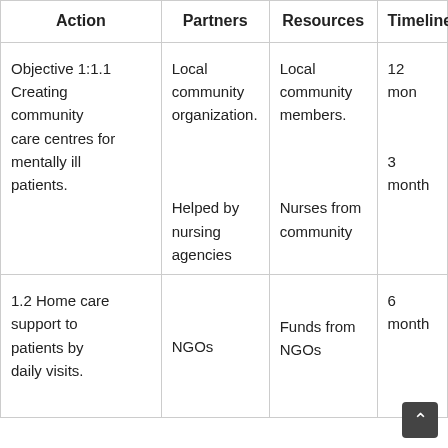| Action | Partners | Resources | Timeline |
| --- | --- | --- | --- |
| Objective 1:1.1 Creating community care centres for mentally ill patients. | Local community organization.

Helped by nursing agencies | Local community members.

Nurses from community | 12 mon

3 month |
| 1.2 Home care support to patients by daily visits. | NGOs | Funds from NGOs | 6 month |